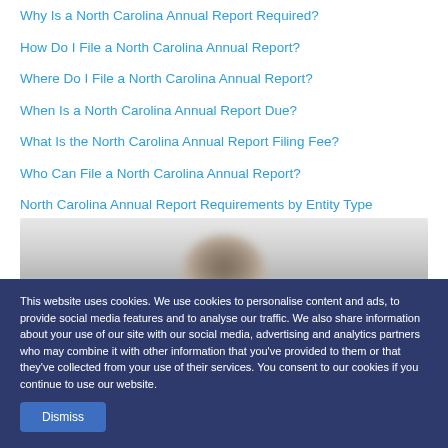Why Is a North Carolina Annual Report Required?
How Do I File a North Carolina Annual Report?
Where Do I File a North Carolina Annual Report?
When Is a North Carolina Annual Report Due?
What Is the North Carolina Annual Report Filing Fee?
Who Can File a North Carolina Annual Report?
North Carolina Annual Report Requirements by Entity Type
Annual Report Requirements by State
[Figure (photo): Blurred background photo of a person in an office or light-colored room setting]
This website uses cookies. We use cookies to personalise content and ads, to provide social media features and to analyse our traffic. We also share information about your use of our site with our social media, advertising and analytics partners who may combine it with other information that you've provided to them or that they've collected from your use of their services. You consent to our cookies if you continue to use our website.
Dismiss